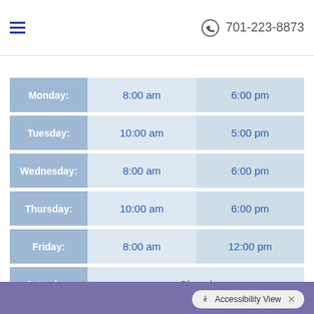701-223-8873
| Day | Open | Close |
| --- | --- | --- |
| Monday: | 8:00 am | 6:00 pm |
| Tuesday: | 10:00 am | 5:00 pm |
| Wednesday: | 8:00 am | 6:00 pm |
| Thursday: | 10:00 am | 6:00 pm |
| Friday: | 8:00 am | 12:00 pm |
| Saturday: | Closed |  |
| Sunday: | Closed |  |
Accessibility View